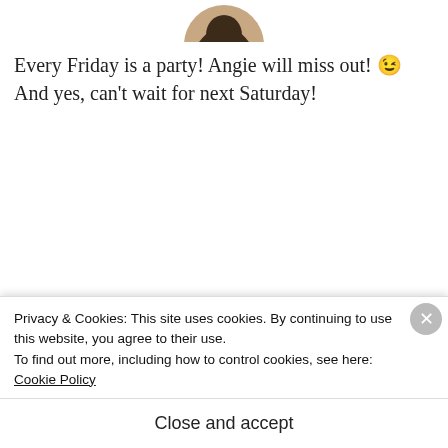[Figure (photo): Circular avatar photo of a person with dark hair, top portion visible at top of page]
Every Friday is a party! Angie will miss out! 😉 And yes, can't wait for next Saturday!
REPLY
Advertisements
[Figure (illustration): WooCommerce advertisement banner: purple background with WooCommerce logo, teal arrow, orange and blue decorative shapes, text 'How to start selling subscriptions online']
[Figure (photo): Small circular avatar photo partially visible]
Privacy & Cookies: This site uses cookies. By continuing to use this website, you agree to their use. To find out more, including how to control cookies, see here: Cookie Policy
Close and accept